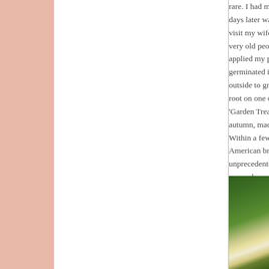rare. I had my po days later was th visit my wife's p very old peonies applied my polle germinated indo outside to grow, root on one of th 'Garden Treasure autumn, made th Within a few yea American bred It unprecedented le more, depending
[Figure (photo): Close-up photo of green peony leaves and a partially visible white/cream peony flower bud]